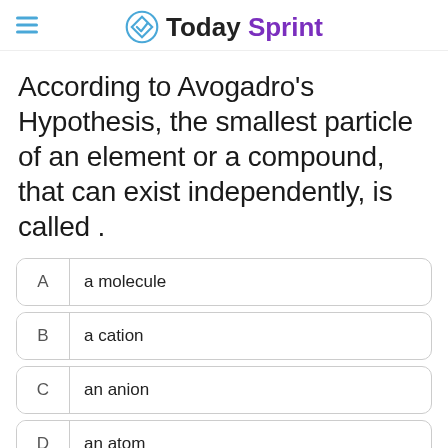Today Sprint
According to Avogadro's Hypothesis, the smallest particle of an element or a compound, that can exist independently, is called .
A  a molecule
B  a cation
C  an anion
D  an atom